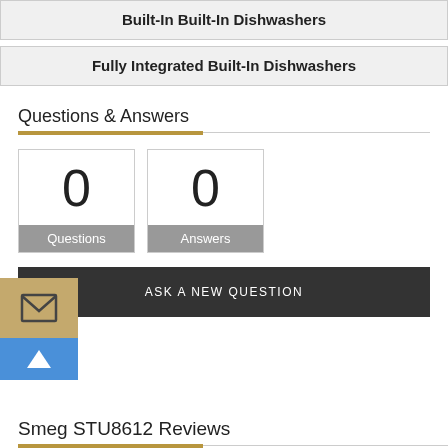Built-In Built-In Dishwashers
Fully Integrated Built-In Dishwashers
Questions & Answers
0 Questions
0 Answers
ASK A NEW QUESTION
[Figure (other): Mail envelope icon button]
[Figure (other): Up arrow scroll to top button]
Smeg STU8612 Reviews